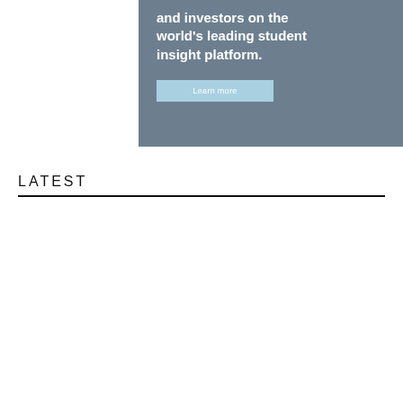[Figure (screenshot): Banner image with dark grey/blue background showing partial text 'and investors on the world's leading student insight platform.' with a light blue 'Learn more' button below.]
LATEST